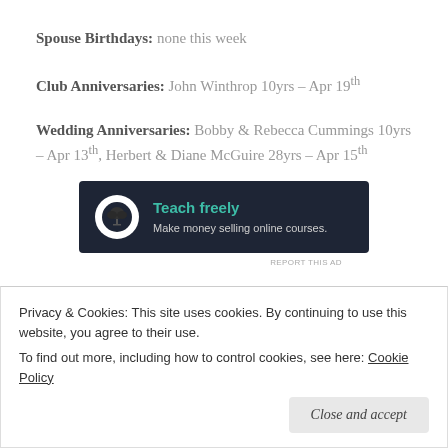Spouse Birthdays: none this week
Club Anniversaries: John Winthrop 10yrs – Apr 19th
Wedding Anniversaries: Bobby & Rebecca Cummings 10yrs – Apr 13th, Herbert & Diane McGuire 28yrs – Apr 15th
[Figure (other): Advertisement banner for 'Teach freely – Make money selling online courses.' with a bonsai tree logo on dark background]
REPORT THIS AD
Sergeant at Arms: Sid Shingler... (partially visible, obscured)
Privacy & Cookies: This site uses cookies. By continuing to use this website, you agree to their use. To find out more, including how to control cookies, see here: Cookie Policy
Close and accept